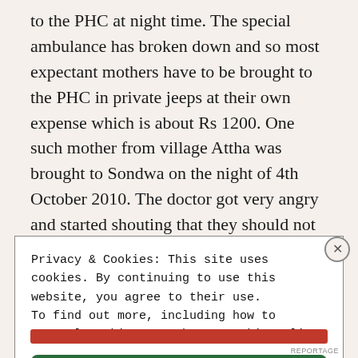to the PHC at night time. The special ambulance has broken down and so most expectant mothers have to be brought to the PHC in private jeeps at their own expense which is about Rs 1200. One such mother from village Attha was brought to Sondwa on the night of 4th October 2010. The doctor got very angry and started shouting that they should not have come to him. When the driver of the jeep protested that there was no other
Privacy & Cookies: This site uses cookies. By continuing to use this website, you agree to their use.
To find out more, including how to control cookies, see here: Cookie Policy
Close and accept